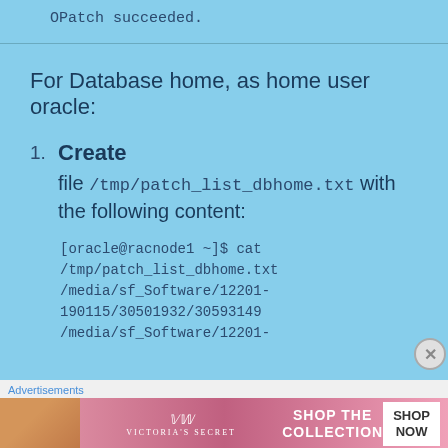OPatch succeeded.
For Database home, as home user oracle:
Create file /tmp/patch_list_dbhome.txt with the following content:
[oracle@racnode1 ~]$ cat /tmp/patch_list_dbhome.txt /media/sf_Software/12201-190115/30501932/30593149 /media/sf_Software/12201-
Advertisements